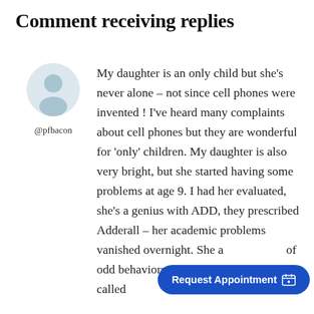Comment receiving replies
[Figure (illustration): User avatar placeholder — a generic silhouette person icon on a light blue-grey circular background]
@pfbacon
My daughter is an only child but she's never alone – not since cell phones were invented ! I've heard many complaints about cell phones but they are wonderful for 'only' children. My daughter is also very bright, but she started having some problems at age 9. I had her evaluated, she's a genius with ADD, they prescribed Adderall – her academic problems vanished overnight. She a... of odd behaviors... defiance, that are being called